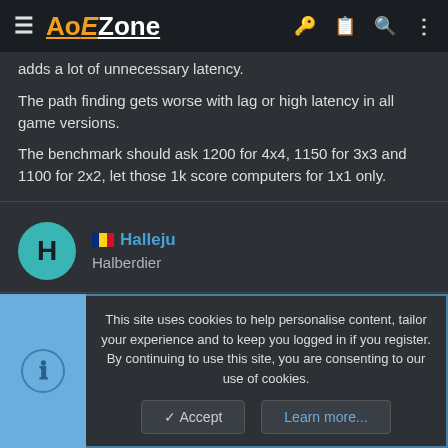AoEZone
adds a lot of unnecessary latency.
The path finding gets worse with lag or high latency in all game versions.
The benchmark should ask 1200 for 4x4, 1150 for 3x3 and 1100 for 2x2, let those 1k score computers for 1x1 only.
Halleju
Halberdier
This site uses cookies to help personalise content, tailor your experience and to keep you logged in if you register. By continuing to use this site, you are consenting to our use of cookies.